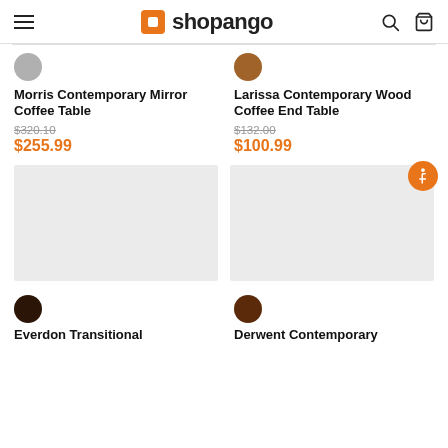shopango
Morris Contemporary Mirror Coffee Table — $320.10 / $255.99
Larissa Contemporary Wood Coffee End Table — $132.00 / $100.99
[Figure (other): Product image placeholder for Everdon Transitional item]
[Figure (other): Product image placeholder for Derwent Contemporary item]
Everdon Transitional
Derwent Contemporary